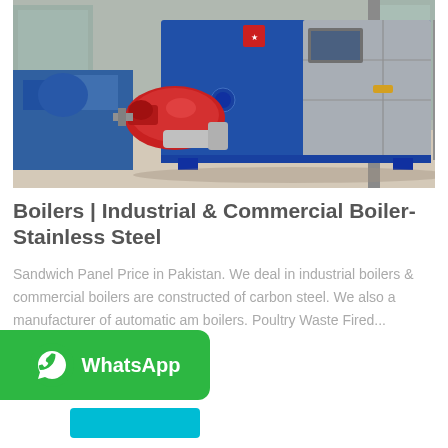[Figure (photo): Industrial boiler unit — a large blue and stainless-steel rectangular boiler with a red burner assembly on the left side and a control panel on the right, photographed inside an industrial facility.]
Boilers | Industrial & Commercial Boiler- Stainless Steel
Sandwich Panel Price in Pakistan. We deal in industrial boilers & commercial boilers are constructed of carbon steel. We also a manufacturer of automatic am boilers. Poultry Waste Fired...
[Figure (logo): WhatsApp button — green rounded rectangle with WhatsApp phone icon and 'WhatsApp' label in white text, with a cyan/blue bar below it.]